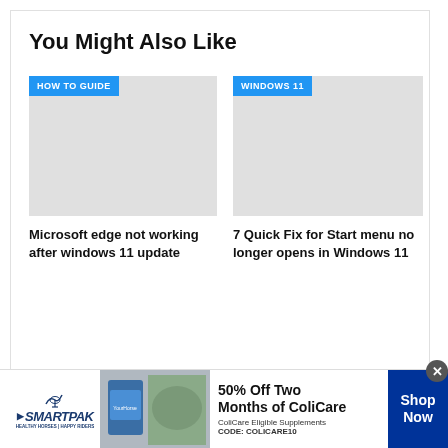You Might Also Like
[Figure (screenshot): Article thumbnail placeholder with 'HOW TO GUIDE' badge, light gray background]
Microsoft edge not working after windows 11 update
[Figure (screenshot): Article thumbnail placeholder with 'WINDOWS 11' badge, light gray background]
7 Quick Fix for Start menu no longer opens in Windows 11
[Figure (infographic): SmartPak advertisement banner: 50% Off Two Months of ColiCare, ColiCare Eligible Supplements, CODE: COLICARE10, Shop Now button]